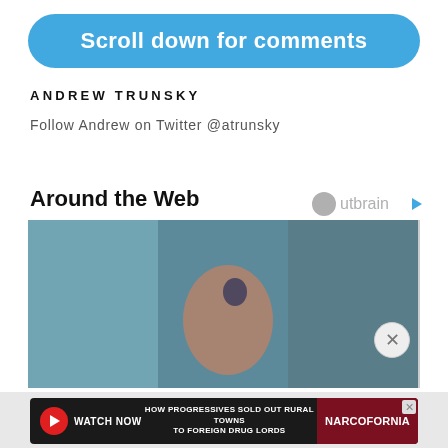Scroll down for comments
ANDREW TRUNSKY
Follow Andrew on Twitter @atrunsky
Around the Web
[Figure (photo): Blurred photo strip showing an unclear subject against a teal/dark blue background, split into panels]
[Figure (infographic): Advertisement banner: HOW PROGRESSIVES SOLD OUT RURAL TOWNS TO FOREIGN DRUG LORDS - NARCOFORNIA - WATCH NOW button]